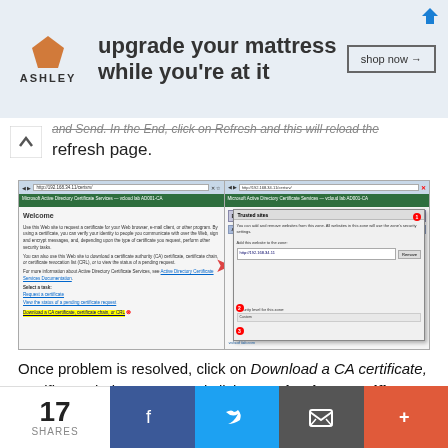[Figure (screenshot): Ashley Furniture advertisement banner: 'upgrade your mattress while you're at it' with shop now button]
...and Send. In the End, click on Refresh and this will reload the refresh page.
[Figure (screenshot): Split screenshot showing Microsoft Active Directory Certificate Services page on the left with highlighted 'Download a CA certificate, certificate chain, or CRL' link, and Internet Explorer security/trusted sites dialog on the right with numbered steps]
Once problem is resolved, click on Download a CA certificate, certificate chain, or CRL and click Download CA certificate. Save the certnew.cer file.
[Figure (screenshot): Microsoft Active Directory Certificate Services browser screenshot showing URL http://192.168.34.11/certsrv/certcarc.asp and page title 'Microsoft Active Directory Certificate Services - vcloud lab AD001-CA']